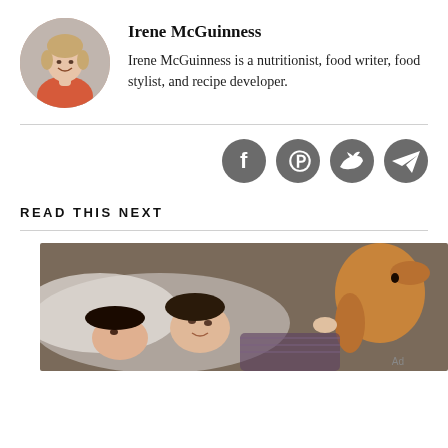[Figure (photo): Circular profile photo of Irene McGuinness, a smiling woman with light hair wearing a coral/red top, with a blurred background]
Irene McGuinness
Irene McGuinness is a nutritionist, food writer, food stylist, and recipe developer.
[Figure (infographic): Four circular dark grey social media icons in a row: Facebook (f), Pinterest (P), Twitter (bird), and Telegram (paper airplane)]
READ THIS NEXT
[Figure (photo): Photo of a parent and child lying together in bed, the child holding a stuffed elephant toy. Warm, cozy scene.]